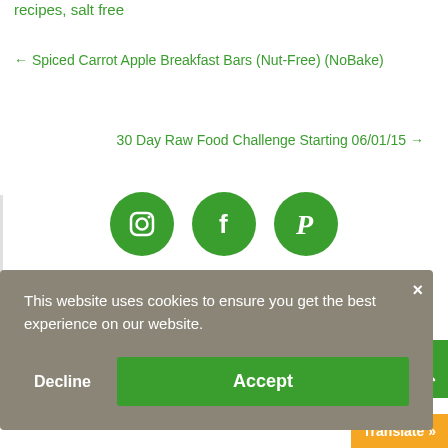recipes, salt free
← Spiced Carrot Apple Breakfast Bars (Nut-Free) (NoBake)
30 Day Raw Food Challenge Starting 06/01/15 →
[Figure (illustration): Three green circular social media icons: Instagram, Facebook, Pinterest]
This website uses cookies to ensure you get the best experience on our website.
Decline
Accept